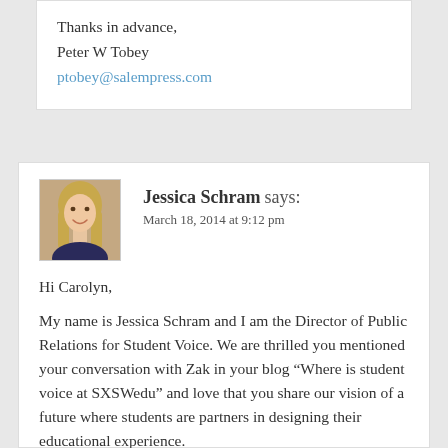Thanks in advance,
Peter W Tobey
ptobey@salempress.com
Jessica Schram says:
March 18, 2014 at 9:12 pm
[Figure (photo): Profile photo of Jessica Schram, a woman with long blonde hair, smiling]
Hi Carolyn,
My name is Jessica Schram and I am the Director of Public Relations for Student Voice. We are thrilled you mentioned your conversation with Zak in your blog “Where is student voice at SXSWedu” and love that you share our vision of a future where students are partners in designing their educational experience.